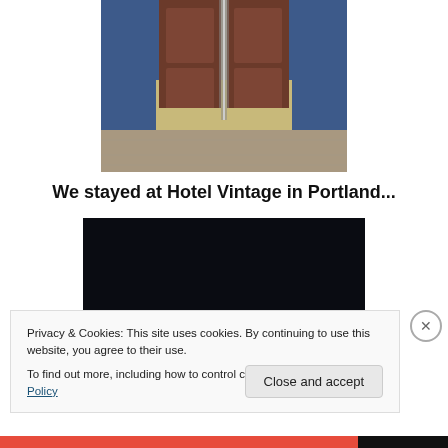[Figure (photo): Photo of hotel lobby area with wooden double doors, blue walls, and tiled floor]
We stayed at Hotel Vintage in Portland...
[Figure (screenshot): Embedded video player with dark background showing Hotel Vintage content, with play button and red progress bar]
Privacy & Cookies: This site uses cookies. By continuing to use this website, you agree to their use.
To find out more, including how to control cookies, see here: Cookie Policy
Close and accept